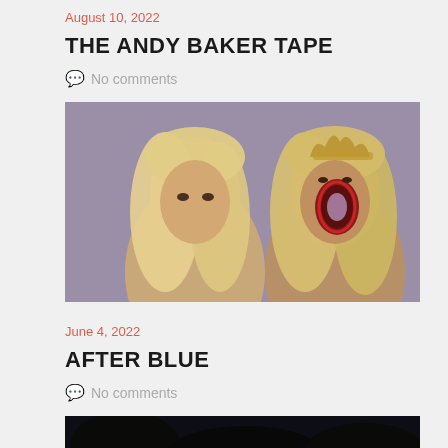August 10, 2022
THE ANDY BAKER TAPE
💬 No comments
[Figure (photo): Two women with long blonde hair, one facing the camera with an intense expression, the other with a horrifying open mouth wound or hole in her face, in a purple-toned cinematic still]
June 4, 2022
AFTER BLUE
💬 No comments
[Figure (photo): Dark nighttime scene with a figure visible in shadows, partially visible at the bottom of the page]